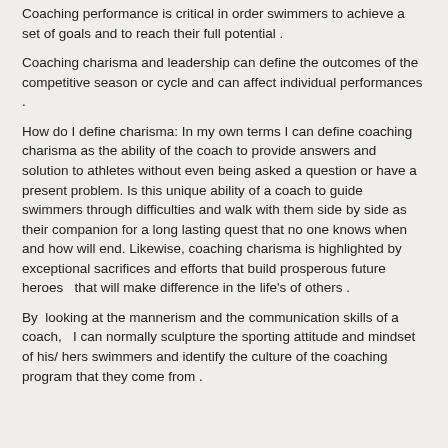Coaching performance is critical in order swimmers to achieve a set of goals and to reach their full potential .
Coaching charisma and leadership can define the outcomes of the competitive season or cycle and can affect individual performances .
How do I define charisma: In my own terms I can define coaching charisma as the ability of the coach to provide answers and solution to athletes without even being asked a question or have a present problem. Is this unique ability of a coach to guide swimmers through difficulties and walk with them side by side as their companion for a long lasting quest that no one knows when and how will end. Likewise, coaching charisma is highlighted by exceptional sacrifices and efforts that build prosperous future heroes  that will make difference in the life's of others .
By  looking at the mannerism and the communication skills of a coach,  I can normally sculpture the sporting attitude and mindset of his/ hers swimmers and identify the culture of the coaching program that they come from .